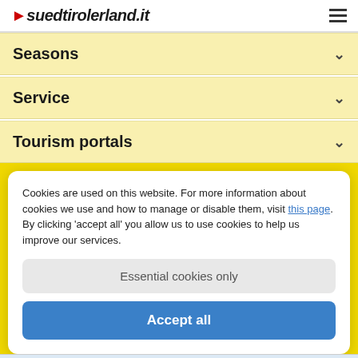suedtirolerland.it
Seasons
Service
Tourism portals
Cookies are used on this website. For more information about cookies we use and how to manage or disable them, visit this page. By clicking 'accept all' you allow us to use cookies to help us improve our services.
Essential cookies only
Accept all
★ ★ ★ ★ 5  Hotel Hubertus  Floating in the Sky Pool in the heart of the Dolomites